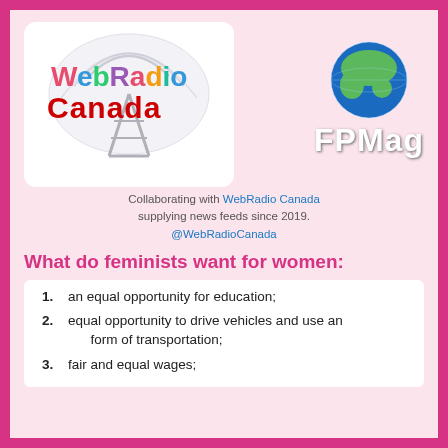[Figure (logo): WebRadio Canada logo with colorful text and radio tower/waves graphic]
[Figure (logo): FPMag logo with globe graphic and white FPMag text]
Collaborating with WebRadio Canada supplying news feeds since 2019. @WebRadioCanada
What do feminists want for women:
an equal opportunity for education;
equal opportunity to drive vehicles and use any form of transportation;
fair and equal wages;